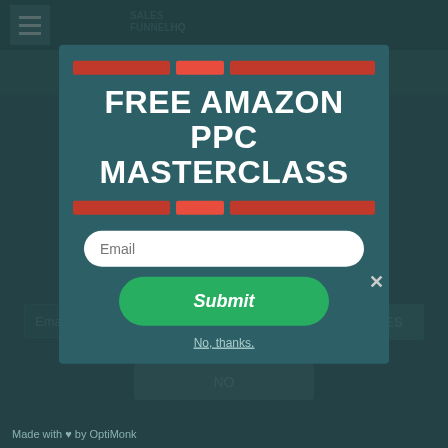[Figure (screenshot): Background webpage screenshot showing Sales Funnel HQ website with teal/dark teal color scheme, hamburger menu icon, logo, and title 'Two Docs...ook To Profitability']
FREE AMAZON PPC MASTERCLASS
Email
Submit
No, thanks.
Made with ♥ by OptiMonk